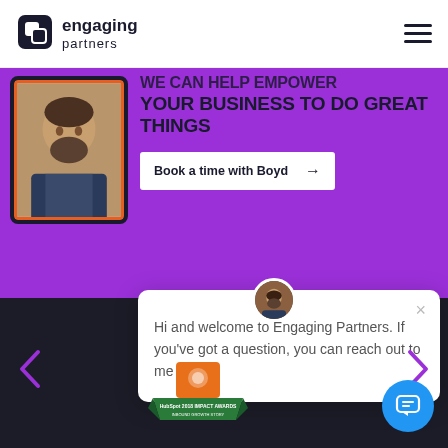[Figure (logo): Engaging Partners logo with stylized square icon and company name]
[Figure (screenshot): Website screenshot showing hero section with person photo in tablet frame, purple background, headline and CTA button, chat popup overlay, HubSpot award badge, and navigation arrows]